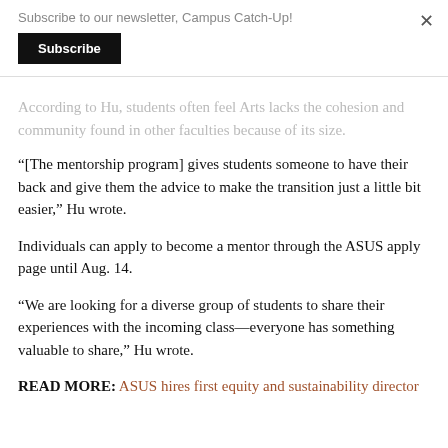Subscribe to our newsletter, Campus Catch-Up!
Subscribe
According to Hu, students often feel Arts lacks the cohesion and community found in other faculties because of its size.
“[The mentorship program] gives students someone to have their back and give them the advice to make the transition just a little bit easier,” Hu wrote.
Individuals can apply to become a mentor through the ASUS apply page until Aug. 14.
“We are looking for a diverse group of students to share their experiences with the incoming class—everyone has something valuable to share,” Hu wrote.
READ MORE: ASUS hires first equity and sustainability director